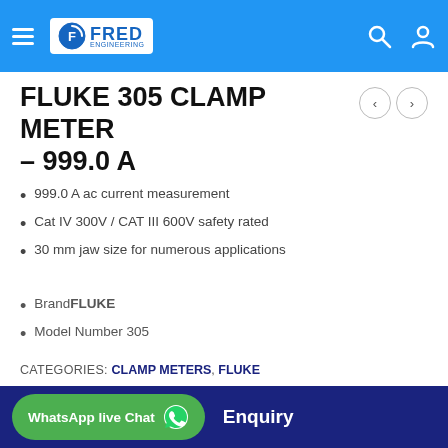FRED - header navigation bar with logo, hamburger menu, search and account icons
FLUKE 305 CLAMP METER – 999.0 A
999.0 A ac current measurement
Cat IV 300V / CAT III 600V safety rated
30 mm jaw size for numerous applications
BrandFLUKE
Model Number 305
CATEGORIES: CLAMP METERS, FLUKE
TAGS: CLAMP METERS, TESTING TOOL
WhatsApp live Chat   Enquiry